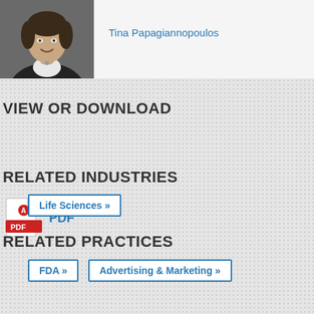[Figure (photo): Headshot photo of Tina Papagiannopoulos]
Tina Papagiannopoulos
VIEW OR DOWNLOAD
PDF
RELATED INDUSTRIES
Life Sciences »
RELATED PRACTICES
FDA »
Advertising & Marketing »